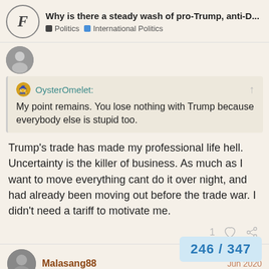Why is there a steady wash of pro-Trump, anti-D... | Politics | International Politics
[Figure (screenshot): Forum avatar - circular logo with italic F]
OysterOmelet: My point remains. You lose nothing with Trump because everybody else is stupid too.
Trump's trade has made my professional life hell. Uncertainty is the killer of business. As much as I want to move everything cant do it over night, and had already been moving out before the trade war. I didn't need a tariff to motivate me.
1
Malasang88  Jun 2020
Mick:
246 / 347